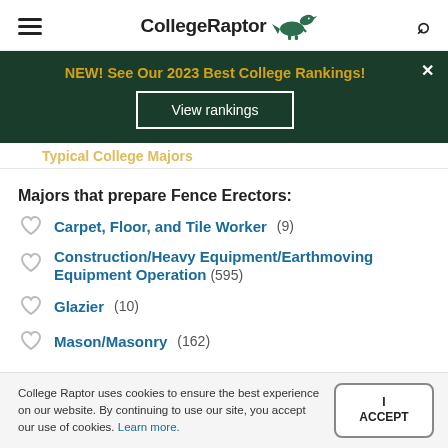CollegeRaptor
[Figure (infographic): Dark green promotional banner: NEW! See Our 2023 Best College Rankings! with View rankings button and close X]
Typical College Majors
Majors that prepare Fence Erectors:
Carpet, Floor, and Tile Worker (9)
Construction/Heavy Equipment/Earthmoving Equipment Operation (595)
Glazier (10)
Mason/Masonry (162)
College Raptor uses cookies to ensure the best experience on our website. By continuing to use our site, you accept our use of cookies. Learn more. I ACCEPT